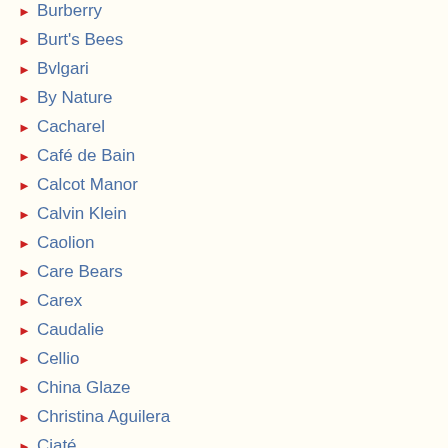Burberry
Burt's Bees
Bvlgari
By Nature
Cacharel
Café de Bain
Calcot Manor
Calvin Klein
Caolion
Care Bears
Carex
Caudalie
Cellio
China Glaze
Christina Aguilera
Ciaté
Claire's Accessories
Clarins
Clothes & Shoes
Collection